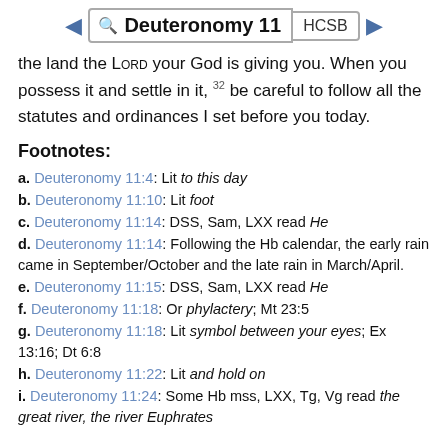Deuteronomy 11 | HCSB
the land the LORD your God is giving you. When you possess it and settle in it, 32 be careful to follow all the statutes and ordinances I set before you today.
Footnotes:
a. Deuteronomy 11:4: Lit to this day
b. Deuteronomy 11:10: Lit foot
c. Deuteronomy 11:14: DSS, Sam, LXX read He
d. Deuteronomy 11:14: Following the Hb calendar, the early rain came in September/October and the late rain in March/April.
e. Deuteronomy 11:15: DSS, Sam, LXX read He
f. Deuteronomy 11:18: Or phylactery; Mt 23:5
g. Deuteronomy 11:18: Lit symbol between your eyes; Ex 13:16; Dt 6:8
h. Deuteronomy 11:22: Lit and hold on
i. Deuteronomy 11:24: Some Hb mss, LXX, Tg, Vg read the great river, the river Euphrates